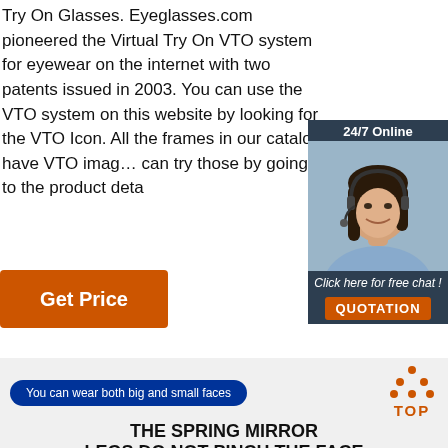Try On Glasses. Eyeglasses.com pioneered the Virtual Try On VTO system for eyewear on the internet with two patents issued in 2003. You can use the VTO system on this website by looking for the VTO Icon. All the frames in our catalog have VTO images, you can try those by going to the product deta
[Figure (infographic): Customer service chat widget showing a woman with headset, '24/7 Online' header, 'Click here for free chat!' text, and a QUOTATION button]
[Figure (other): Orange 'Get Price' button]
You can wear both big and small faces
[Figure (logo): TOP logo with orange dots/triangle and text]
THE SPRING MIRROR
LEGS DO NOT PINCH THE FACE